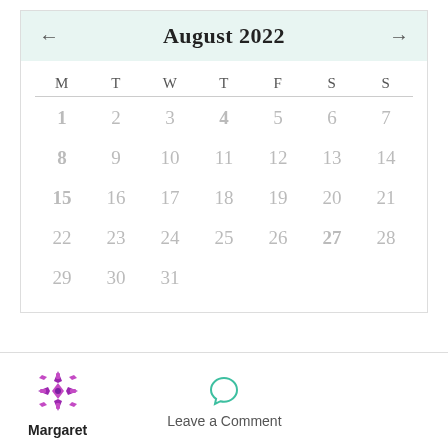[Figure (other): August 2022 monthly calendar with navigation arrows. Days 1, 8, 15 are bold (Mondays), day 4 is bold (Thursday), day 27 is bold (Saturday). Remaining days shown in light gray. Footer shows Margaret profile icon and Leave a Comment button.]
Margaret
Leave a Comment